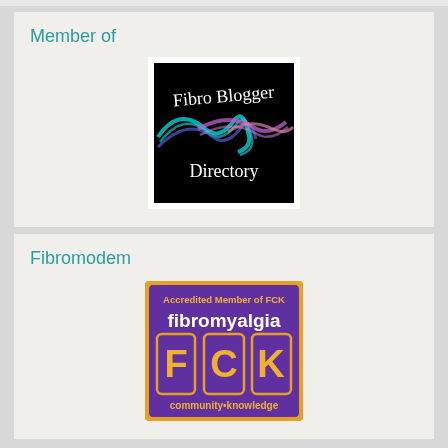Member of
[Figure (logo): Fibro Blogger Directory logo — black background with colorful wave/smoke art and handwritten text 'Fibro Blogger Directory']
Fibromodem
[Figure (logo): Fibromyalgia FCK community knowledge badge — purple background with orange border, text 'Accredited Member of FCK', 'fibromyalgia', three boxes with letters F, C, K, 'community•knowledge']